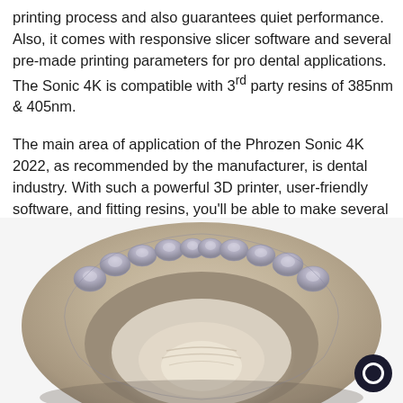printing process and also guarantees quiet performance. Also, it comes with responsive slicer software and several pre-made printing parameters for pro dental applications. The Sonic 4K is compatible with 3rd party resins of 385nm & 405nm.

The main area of application of the Phrozen Sonic 4K 2022, as recommended by the manufacturer, is dental industry. With such a powerful 3D printer, user-friendly software, and fitting resins, you'll be able to make several accurate dental models in no time.
[Figure (photo): Overhead view of a dental arch model (upper jaw) made from resin, showing teeth impressions in a beige/cream colored dental model with grayish-blue tones.]